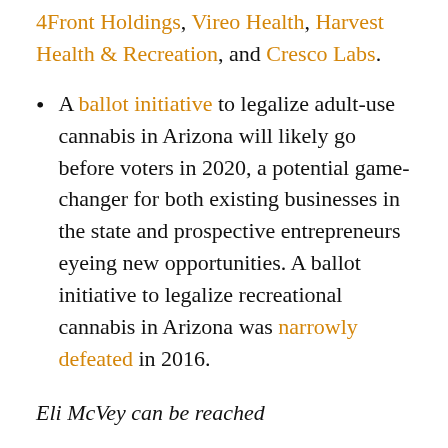4Front Holdings, Vireo Health, Harvest Health & Recreation, and Cresco Labs.
A ballot initiative to legalize adult-use cannabis in Arizona will likely go before voters in 2020, a potential game-changer for both existing businesses in the state and prospective entrepreneurs eyeing new opportunities. A ballot initiative to legalize recreational cannabis in Arizona was narrowly defeated in 2016.
Eli McVey can be reached at elim@mjbizdaily.com